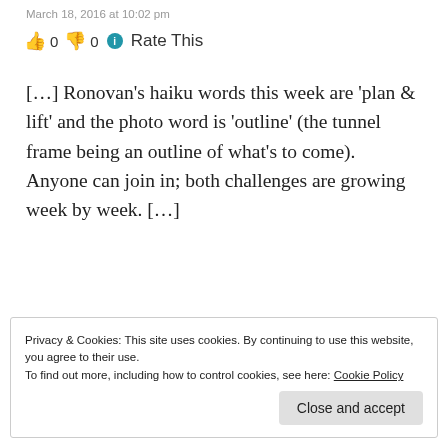March 18, 2016 at 10:02 pm
👍 0 👎 0 ℹ Rate This
[…] Ronovan's haiku words this week are 'plan & lift' and the photo word is 'outline' (the tunnel frame being an outline of what's to come).  Anyone can join in; both challenges are growing week by week. […]
★ Like
Privacy & Cookies: This site uses cookies. By continuing to use this website, you agree to their use.
To find out more, including how to control cookies, see here: Cookie Policy
Close and accept